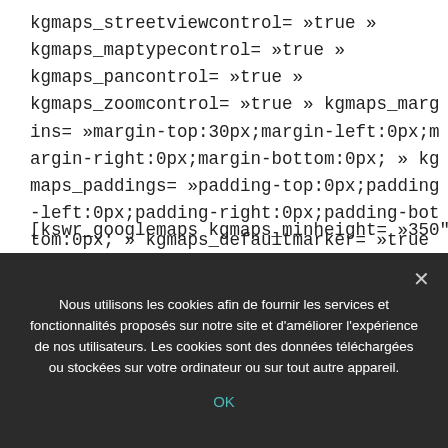kgmaps_streetviewcontrol= »true » kgmaps_maptypecontrol= »true » kgmaps_pancontrol= »true » kgmaps_zoomcontrol= »true » kgmaps_margins= »margin-top:30px;margin-left:0px;margin-right:0px;margin-bottom:0px; » kgmaps_paddings= »padding-top:0px;padding-left:0px;padding-right:0px;padding-bottom:0px; » kgmaps_defaultmarker= »true » kgmaps_jsonstyle= »JTVCJTdCJTIyZmVhdHVyZVR5cGUlMjlM
[kswr_googlemaps kgmaps_minheight= »350"
Nous utilisons les cookies afin de fournir les services et fonctionnalités proposés sur notre site et d'améliorer l'expérience de nos utilisateurs. Les cookies sont des données téléchargées ou stockées sur votre ordinateur ou sur tout autre appareil.
OK